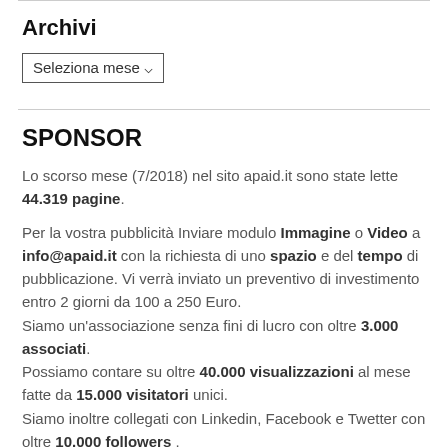Archivi
Seleziona mese
SPONSOR
Lo scorso mese (7/2018) nel sito apaid.it sono state lette 44.319 pagine.
Per la vostra pubblicità Inviare modulo Immagine o Video a info@apaid.it con la richiesta di uno spazio e del tempo di pubblicazione. Vi verrà inviato un preventivo di investimento entro 2 giorni da 100 a 250 Euro.
Siamo un'associazione senza fini di lucro con oltre 3.000 associati.
Possiamo contare su oltre 40.000 visualizzazioni al mese fatte da 15.000 visitatori unici.
Siamo inoltre collegati con Linkedin, Facebook e Twetter con oltre 10.000 followers .